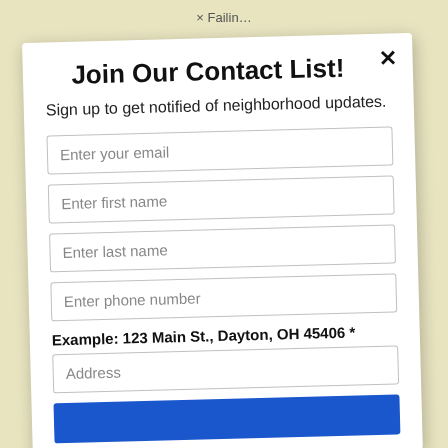Join Our Contact List!
Sign up to get notified of neighborhood updates.
Enter your email
Enter first name
Enter last name
Enter phone number
Example: 123 Main St., Dayton, OH 45406 *
Address